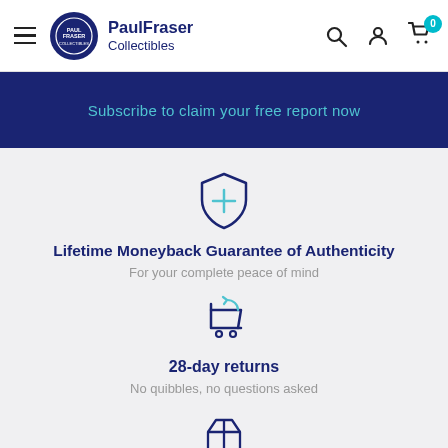PaulFraser Collectibles
Subscribe to claim your free report now
[Figure (illustration): Shield icon with a plus/cross symbol in teal/blue outline style]
Lifetime Moneyback Guarantee of Authenticity
For your complete peace of mind
[Figure (illustration): Shopping cart with a return arrow icon in teal/blue outline style]
28-day returns
No quibbles, no questions asked
[Figure (illustration): Package/box icon in blue outline style]